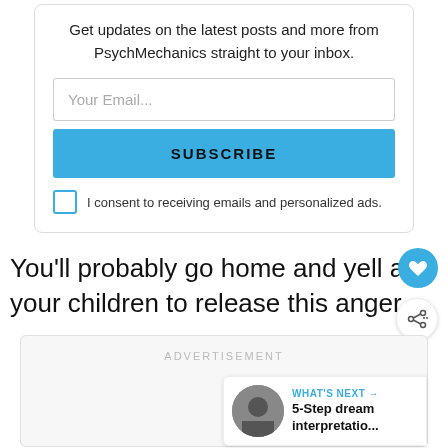Get updates on the latest posts and more from PsychMechanics straight to your inbox.
Your Email...
SUBSCRIBE
I consent to receiving emails and personalized ads.
You'll probably go home and yell at your children to release this anger.
ADVERTISEMENT
WHAT'S NEXT → 5-Step dream interpretatio...